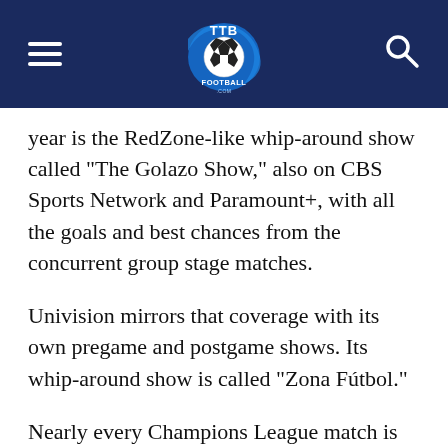TTB Football (logo, hamburger menu, search icon)
year is the RedZone-like whip-around show called “The Golazo Show,” also on CBS Sports Network and Paramount+, with all the goals and best chances from the concurrent group stage matches.
Univision mirrors that coverage with its own pregame and postgame shows. Its whip-around show is called “Zona Fútbol.”
Nearly every Champions League match is available to be streamed on fuboTV, which offers a free seven-day trial to new subscribers. The streaming platform carries all the Univision family of channels: Univision, TUDN, UniMas, Galavision and